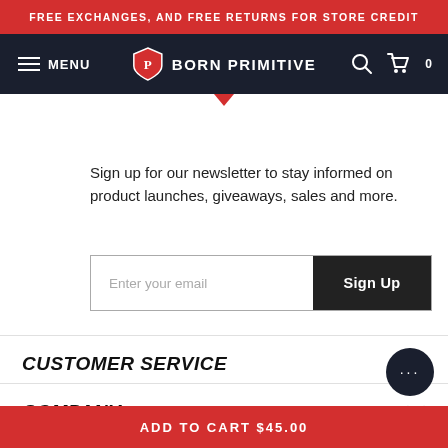FREE EXCHANGES, AND FREE RETURNS FOR STORE CREDIT
MENU | BORN PRIMITIVE
Sign up for our newsletter to stay informed on product launches, giveaways, sales and more.
CUSTOMER SERVICE
COMPANY
CONTACT US
ADD TO CART $45.00